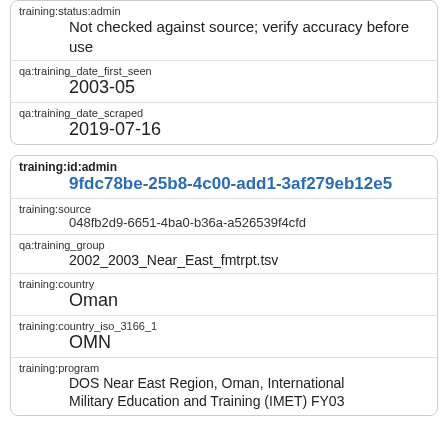| training:status:admin | Not checked against source; verify accuracy before use |
| qa:training_date_first_seen | 2003-05 |
| qa:training_date_scraped | 2019-07-16 |
| training:id:admin | 9fdc78be-25b8-4c00-add1-3af279eb12e5 |
| training:source | 048fb2d9-6651-4ba0-b36a-a526539f4cfd |
| qa:training_group | 2002_2003_Near_East_fmtrpt.tsv |
| training:country | Oman |
| training:country_iso_3166_1 | OMN |
| training:program | DOS Near East Region, Oman, International Military Education and Training (IMET) FY03 |